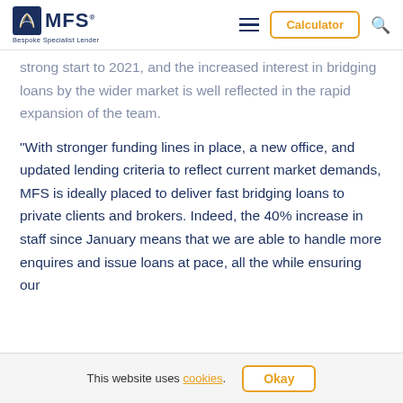MFS - Bespoke Specialist Lender | Calculator
strong start to 2021, and the increased interest in bridging loans by the wider market is well reflected in the rapid expansion of the team.
“With stronger funding lines in place, a new office, and updated lending criteria to reflect current market demands, MFS is ideally placed to deliver fast bridging loans to private clients and brokers. Indeed, the 40% increase in staff since January means that we are able to handle more enquires and issue loans at pace, all the while ensuring our
This website uses cookies. Okay